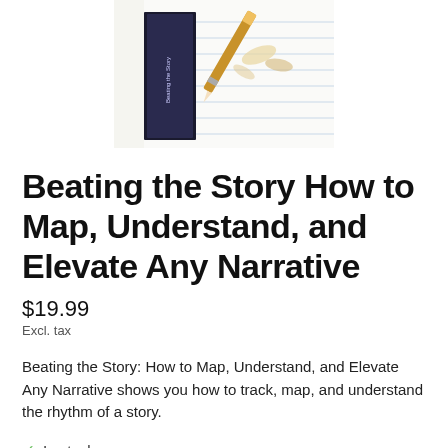[Figure (photo): Book product image showing a notebook with a pencil and pencil shavings on top, with a book/DVD cover partially visible on the left side.]
Beating the Story How to Map, Understand, and Elevate Any Narrative
$19.99
Excl. tax
Beating the Story: How to Map, Understand, and Elevate Any Narrative shows you how to track, map, and understand the rhythm of a story.
✓ In stock
Quantity: